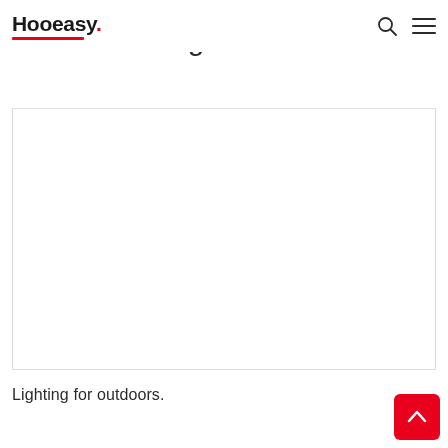Hooeasy
What a awning can do for me
[Figure (photo): White/blank image placeholder box]
Lighting for outdoors.